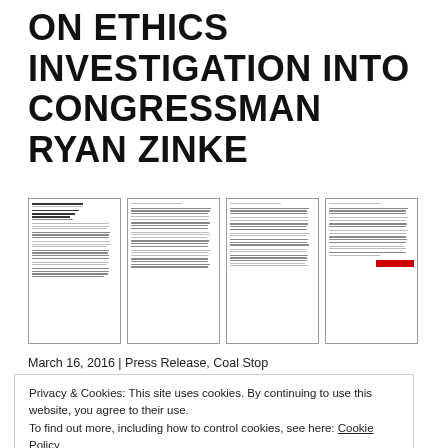ON ETHICS INVESTIGATION INTO CONGRESSMAN RYAN ZINKE
[Figure (screenshot): Four thumbnail images of document pages arranged in a row, showing pages of a letter or report with dense text, one page has a red redacted bar at the bottom right.]
March 16, 2016 | Press Release, Coal Stop
Privacy & Cookies: This site uses cookies. By continuing to use this website, you agree to their use.
To find out more, including how to control cookies, see here: Cookie Policy
Close and accept